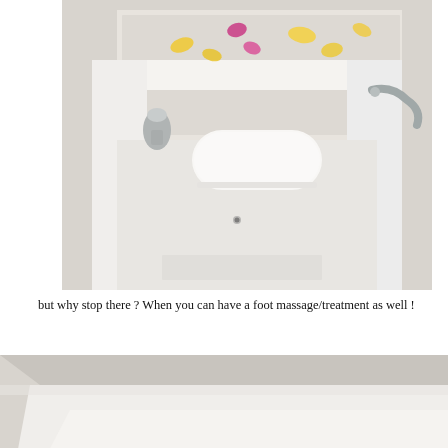[Figure (photo): A white foot spa / pedicure basin with a white cylindrical pillow rest, chrome faucet on the right, chrome soap/lotion dispenser on the left, and yellow and pink flower petals scattered in the water at the top of the basin. The basin has a clean modern white finish with a small drain visible.]
but why stop there ? When you can have a foot massage/treatment as well !
[Figure (photo): A white bathtub or spa basin viewed from above at an angle, showing the smooth white interior surface with yellow and pink/white flower petals scattered at the bottom, partially filled with water.]